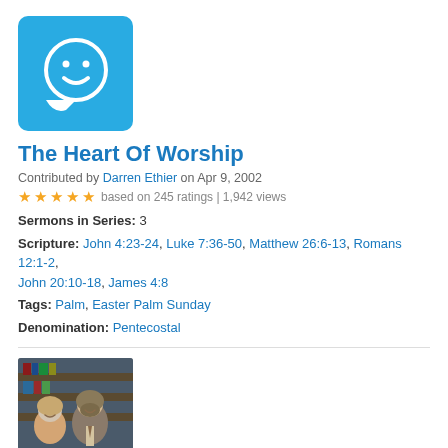[Figure (logo): Blue rounded square logo with white smiley face speech bubble icon]
The Heart Of Worship
Contributed by Darren Ethier on Apr 9, 2002
★★★★★ based on 245 ratings | 1,942 views
Sermons in Series: 3
Scripture: John 4:23-24, Luke 7:36-50, Matthew 26:6-13, Romans 12:1-2, John 20:10-18, James 4:8
Tags: Palm, Easter Palm Sunday
Denomination: Pentecostal
[Figure (photo): Photo of a man and woman smiling, posed together in front of bookshelves]
Studies In John